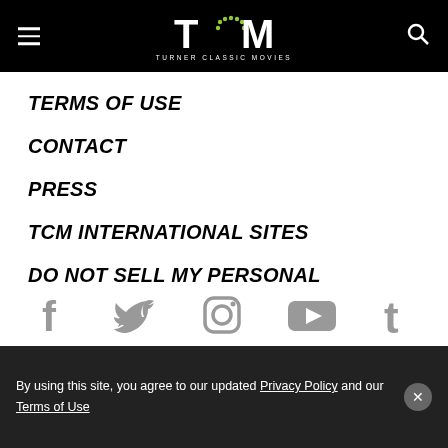TCM TURNER CLASSIC MOVIES
TERMS OF USE
CONTACT
PRESS
TCM INTERNATIONAL SITES
DO NOT SELL MY PERSONAL INFORMATION
[Figure (infographic): Social media icons row: Facebook, Twitter, Instagram, YouTube, Tumblr]
By using this site, you agree to our updated Privacy Policy and our Terms of Use